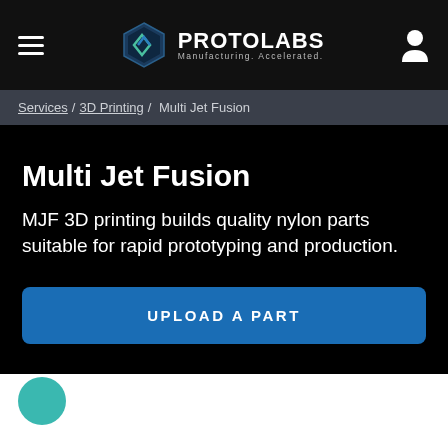PROTOLABS Manufacturing Accelerated
Services / 3D Printing / Multi Jet Fusion
Multi Jet Fusion
MJF 3D printing builds quality nylon parts suitable for rapid prototyping and production.
UPLOAD A PART